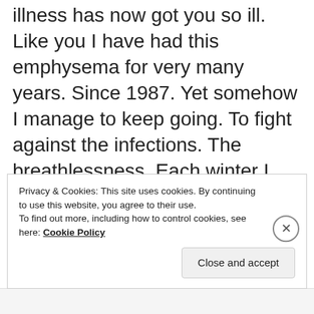But so sad to realise this wretched illness has now got you so ill. Like you I have had this emphysema for very many years. Since 1987. Yet somehow I manage to keep going. To fight against the infections. The breathlessness. Each winter I wonder. Will this be the year that final exacerbation gets me. Each spring I look in awe at the new life growing, glad that once again I have survived the long winter nights.
Privacy & Cookies: This site uses cookies. By continuing to use this website, you agree to their use.
To find out more, including how to control cookies, see here: Cookie Policy
Close and accept